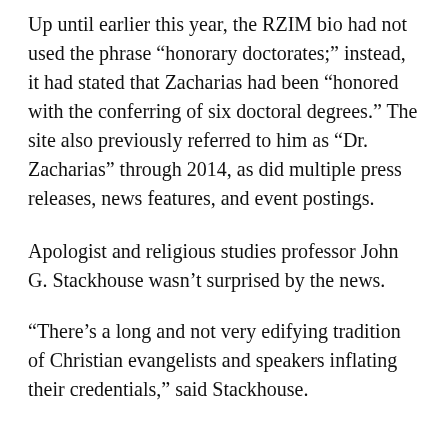Up until earlier this year, the RZIM bio had not used the phrase “honoraryDoctorates;” instead, it had stated that Zacharias had been “honored with the conferring of six doctoral degrees.” The site also previously referred to him as “Dr. Zacharias” through 2014, as did multiple press releases, news features, and event postings.
Apologist and religious studies professor John G. Stackhouse wasn’t surprised by the news.
“There’s a long and not very edifying tradition of Christian evangelists and speakers inflating their credentials,” said Stackhouse.